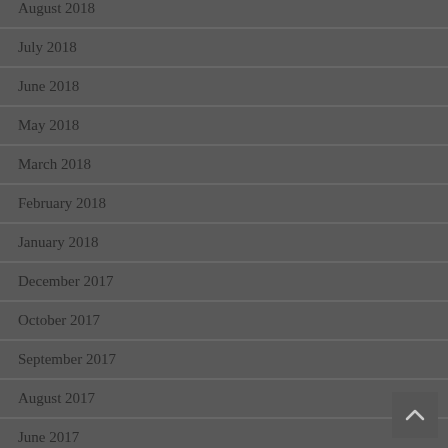August 2018
July 2018
June 2018
May 2018
March 2018
February 2018
January 2018
December 2017
October 2017
September 2017
August 2017
June 2017